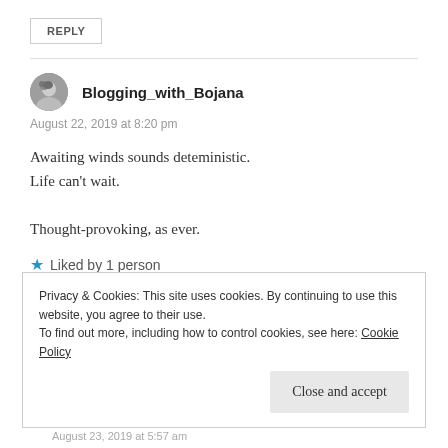REPLY
Blogging_with_Bojana
August 22, 2019 at 8:20 pm
Awaiting winds sounds deteministic.
Life can't wait.

Thought-provoking, as ever.
Liked by 1 person
Privacy & Cookies: This site uses cookies. By continuing to use this website, you agree to their use.
To find out more, including how to control cookies, see here: Cookie Policy
Close and accept
August 23, 2019 at 5:57 am